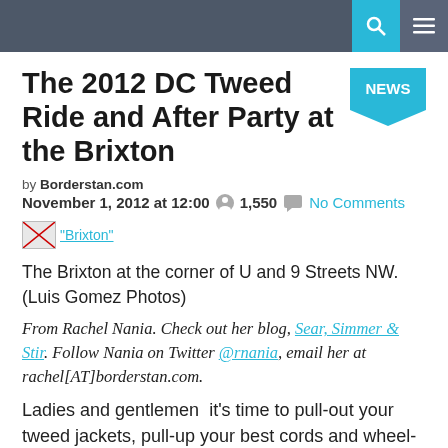The 2012 DC Tweed Ride and After Party at the Brixton
by Borderstan.com
November 1, 2012 at 12:00 pm  1,550   No Comments
[Figure (photo): Broken image placeholder labeled 'Brixton']
The Brixton at the corner of U and 9 Streets NW. (Luis Gomez Photos)
From Rachel Nania. Check out her blog, Sear, Simmer & Stir. Follow Nania on Twitter @rnania, email her at rachel[AT]borderstan.com.
Ladies and gentlemen  it's time to pull-out your tweed jackets, pull-up your best cords and wheel-out your most vintage looking bicycle, because this Sunday, November